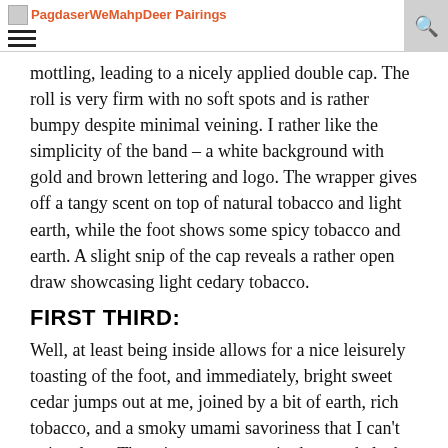PagdaserWeMahpDeer Pairings
mottling, leading to a nicely applied double cap.  The roll is very firm with no soft spots and is rather bumpy despite minimal veining.  I rather like the simplicity of the band – a white background with gold and brown lettering and logo.  The wrapper gives off a tangy scent on top of natural tobacco and light earth, while the foot shows some spicy tobacco and earth.  A slight snip of the cap reveals a rather open draw showcasing light cedary tobacco.
FIRST THIRD:
Well, at least being inside allows for a nice leisurely toasting of the foot, and immediately, bright sweet cedar jumps out at me, joined by a bit of earth, rich tobacco, and a smoky umami savoriness that I can't quite place.  There is some pepper in the retrohale, but the cedar is really what is carrying the flavors so far, although not in an obnoxiously strong way.  The burn line is